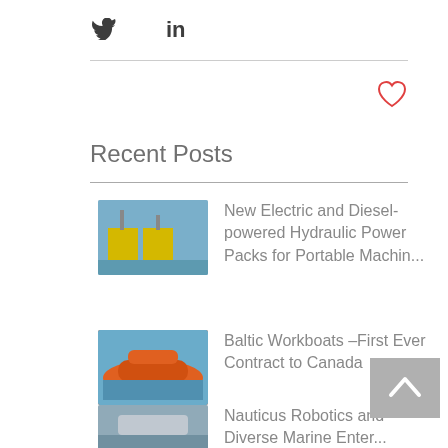[Figure (logo): Twitter bird icon]
[Figure (logo): LinkedIn 'in' text logo]
[Figure (illustration): Heart/like icon in red outline]
Recent Posts
[Figure (photo): Thumbnail of electric/diesel hydraulic power pack machinery with yellow equipment]
New Electric and Diesel-powered Hydraulic Power Packs for Portable Machin...
[Figure (photo): Thumbnail of orange Baltic workboat on water]
Baltic Workboats –First Ever Contract to Canada
[Figure (photo): Thumbnail of ship/vessel at sea]
Nauticus Robotics and Diverse Marine Enter...